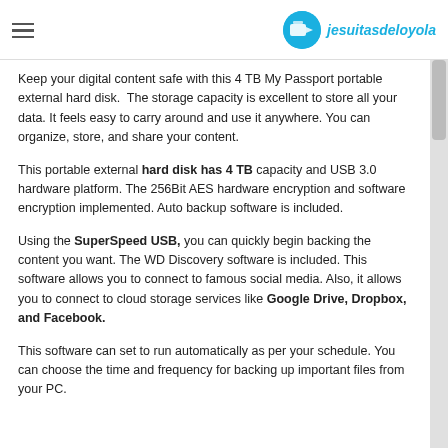jesuitasdeloyola
Keep your digital content safe with this 4 TB My Passport portable external hard disk. The storage capacity is excellent to store all your data. It feels easy to carry around and use it anywhere. You can organize, store, and share your content.
This portable external hard disk has 4 TB capacity and USB 3.0 hardware platform. The 256Bit AES hardware encryption and software encryption implemented. Auto backup software is included.
Using the SuperSpeed USB, you can quickly begin backing the content you want. The WD Discovery software is included. This software allows you to connect to famous social media. Also, it allows you to connect to cloud storage services like Google Drive, Dropbox, and Facebook.
This software can set to run automatically as per your schedule. You can choose the time and frequency for backing up important files from your PC.